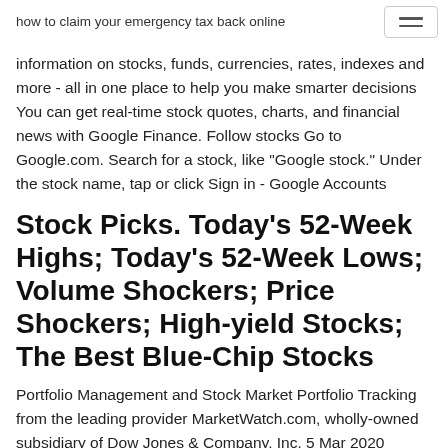how to claim your emergency tax back online
information on stocks, funds, currencies, rates, indexes and more - all in one place to help you make smarter decisions You can get real-time stock quotes, charts, and financial news with Google Finance. Follow stocks Go to Google.com. Search for a stock, like "Google stock." Under the stock name, tap or click Sign in - Google Accounts
Stock Picks. Today's 52-Week Highs; Today's 52-Week Lows; Volume Shockers; Price Shockers; High-yield Stocks; The Best Blue-Chip Stocks
Portfolio Management and Stock Market Portfolio Tracking from the leading provider MarketWatch.com, wholly-owned subsidiary of Dow Jones & Company, Inc. 5 Mar 2020 Google Finance Portfolios shut down in November of 2017 - we look at